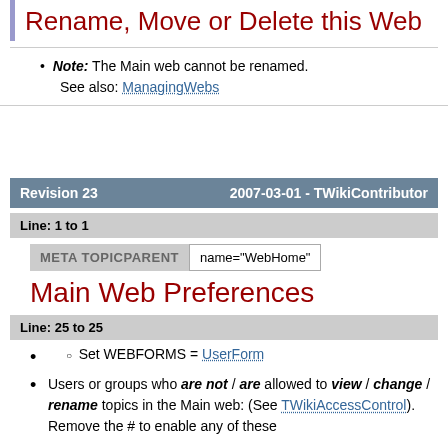Rename, Move or Delete this Web
Note: The Main web cannot be renamed.
See also: ManagingWebs
Revision 23   2007-03-01 - TWikiContributor
Line: 1 to 1
META TOPICPARENT   name="WebHome"
Main Web Preferences
Line: 25 to 25
Set WEBFORMS = UserForm
Users or groups who are not / are allowed to view / change / rename topics in the Main web: (See TWikiAccessControl). Remove the # to enable any of these
Remove the # to enable any of these